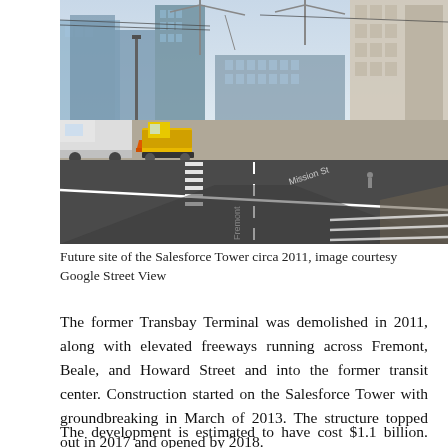[Figure (photo): Street-level photo of the future site of the Salesforce Tower circa 2011, showing an urban intersection with construction equipment including a bulldozer, construction barriers, cranes in the background, high-rise buildings under construction, and road markings. Image courtesy Google Street View.]
Future site of the Salesforce Tower circa 2011, image courtesy Google Street View
The former Transbay Terminal was demolished in 2011, along with elevated freeways running across Fremont, Beale, and Howard Street and into the former transit center. Construction started on the Salesforce Tower with groundbreaking in March of 2013. The structure topped out in 2017 and opened by 2018.
The development is estimated to have cost $1.1 billion. Boston Properties and Hines were joint